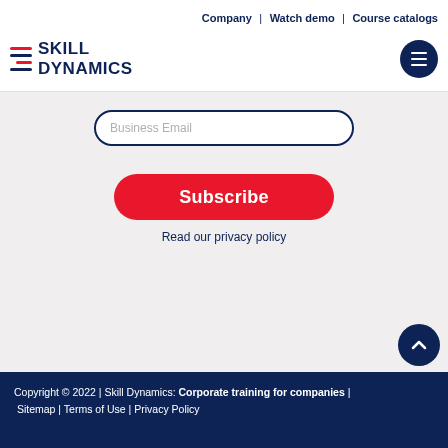Company | Watch demo | Course catalogs
[Figure (logo): Skill Dynamics logo with red and navy horizontal lines and text]
[Figure (other): Hamburger menu button (dark navy circle with three white lines)]
Business Email
Subscribe
Read our privacy policy
[Figure (other): Scroll to top button (dark navy circle with upward chevron)]
Copyright © 2022 | Skill Dynamics: Corporate training for companies | Sitemap | Terms of Use | Privacy Policy